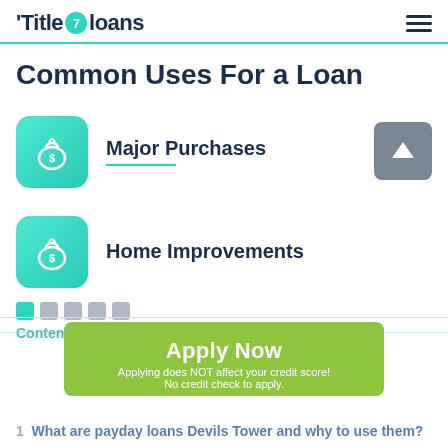Title 7 loans
Common Uses For a Loan
Major Purchases
[Figure (illustration): Teal rounded square icon with a money bag with dollar sign]
Home Improvements
[Figure (illustration): Teal rounded square icon with a money bag with dollar sign]
[Figure (other): Pagination dots: one green active dot and four grey dots, plus a grey up-arrow button]
Contents (tap to hide) ^
Apply Now
Applying does NOT affect your credit score!
No credit check to apply.
1  What are payday loans Devils Tower and why to use them?